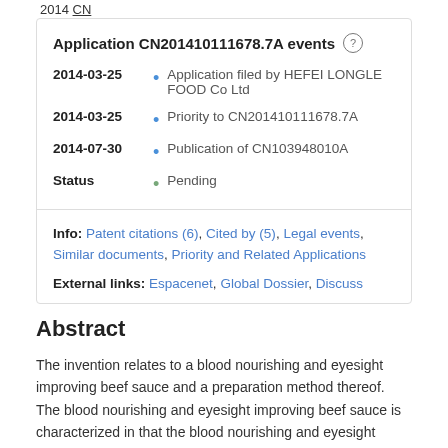2014 CN
Application CN201410111678.7A events
| Date/Status | Event |
| --- | --- |
| 2014-03-25 | Application filed by HEFEI LONGLE FOOD Co Ltd |
| 2014-03-25 | Priority to CN201410111678.7A |
| 2014-07-30 | Publication of CN103948010A |
| Status | Pending |
Info: Patent citations (6), Cited by (5), Legal events, Similar documents, Priority and Related Applications
External links: Espacenet, Global Dossier, Discuss
Abstract
The invention relates to a blood nourishing and eyesight improving beef sauce and a preparation method thereof. The blood nourishing and eyesight improving beef sauce is characterized in that the blood nourishing and eyesight improving beef sauce is prepared from the following raw